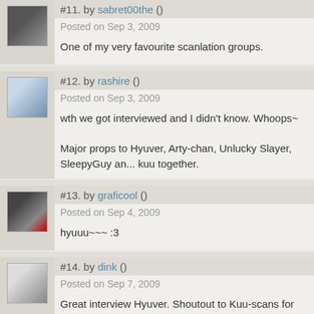#11. by sabret00the ()
Posted on Sep 3, 2009
One of my very favourite scanlation groups.
#12. by rashire ()
Posted on Sep 3, 2009
wth we got interviewed and I didn't know. Whoops~
Major props to Hyuver, Arty-chan, Unlucky Slayer, SleepyGuy and kuu together.
#13. by graficool ()
Posted on Sep 4, 2009
hyuuu~~~ :3
#14. by dink ()
Posted on Sep 7, 2009
Great interview Hyuver. Shoutout to Kuu-scans for holding it dow